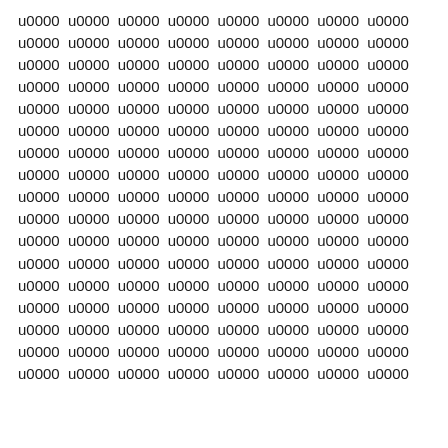u0000 u0000 u0000 u0000 u0000 u0000 u0000 u0000 (repeated 17 rows)